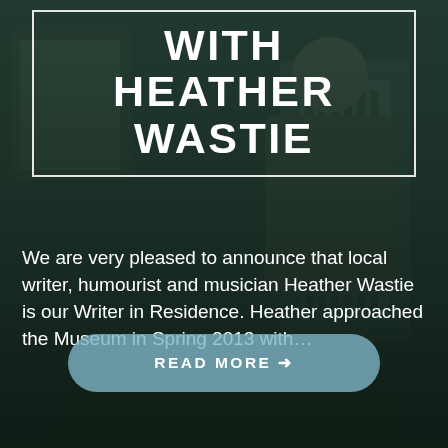WITH HEATHER WASTIE
We are very pleased to announce that local writer, humourist and musician Heather Wastie is our Writer in Residence. Heather approached the Museum in Spring 2013 with…
[Figure (photo): Dark-toned photograph of a woman playing an accordion, with artwork visible in the background, overlaid with a dark green/teal semi-transparent background]
READ MORE →